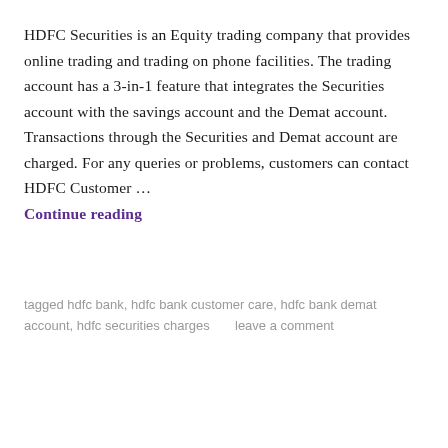HDFC Securities is an Equity trading company that provides online trading and trading on phone facilities. The trading account has a 3-in-1 feature that integrates the Securities account with the savings account and the Demat account. Transactions through the Securities and Demat account are charged. For any queries or problems, customers can contact HDFC Customer … Continue reading
tagged hdfc bank, hdfc bank customer care, hdfc bank demat account, hdfc securities charges      leave a comment